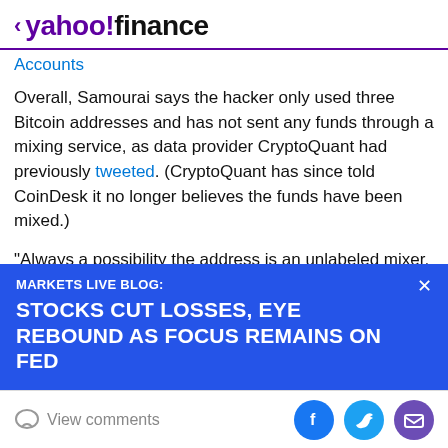< yahoo!finance
Accounts
Overall, Samourai says the hacker only used three Bitcoin addresses and has not sent any funds through a mixing service, as data provider CryptoQuant had previously tweeted. (CryptoQuant has since told CoinDesk it no longer believes the funds have been mixed.)
“Always a possibility the address is an unlabeled mixer, but I don't see any hints, and one-time use addresses are
[Figure (screenshot): Blue banner overlay: MARKETS LIVE BLOG: STOCKS CUT LOSSES, EYE REBOUND AS FOCUS REMAINS ON FED with close button]
View comments | Facebook | Twitter | Email share buttons